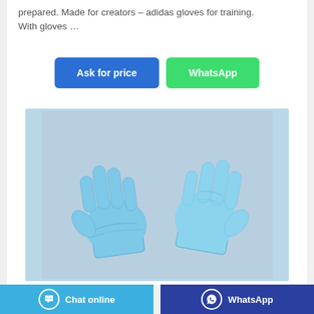prepared. Made for creators – adidas gloves for training. With gloves …
Ask for price | WhatsApp
[Figure (photo): Two blue nitrile/latex disposable gloves laid flat on a grey background, one showing the palm side and one showing the back of the hand.]
Chat online | WhatsApp